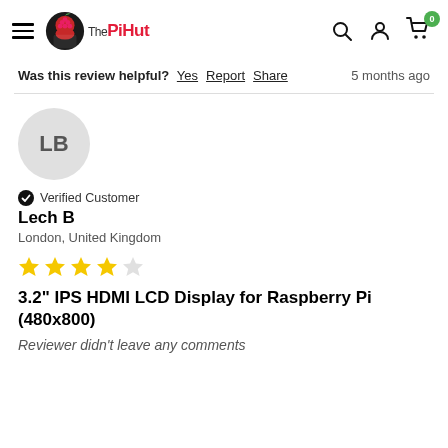The PiHut
Was this review helpful? Yes  Report  Share  5 months ago
LB
Verified Customer
Lech B
London, United Kingdom
[Figure (other): 4 out of 5 stars rating]
3.2" IPS HDMI LCD Display for Raspberry Pi (480x800)
Reviewer didn't leave any comments